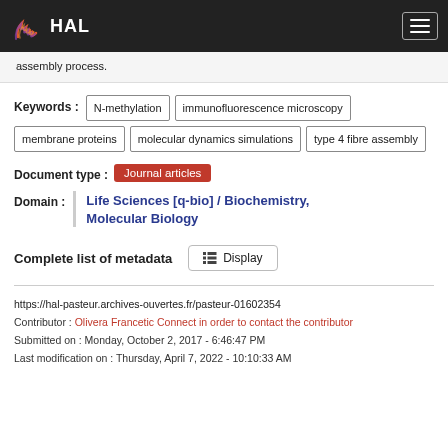HAL
assembly process.
Keywords : N-methylation | immunofluorescence microscopy | membrane proteins | molecular dynamics simulations | type 4 fibre assembly
Document type : Journal articles
Domain : Life Sciences [q-bio] / Biochemistry, Molecular Biology
Complete list of metadata  Display
https://hal-pasteur.archives-ouvertes.fr/pasteur-01602354
Contributor : Olivera Francetic Connect in order to contact the contributor
Submitted on : Monday, October 2, 2017 - 6:46:47 PM
Last modification on : Thursday, April 7, 2022 - 10:10:33 AM